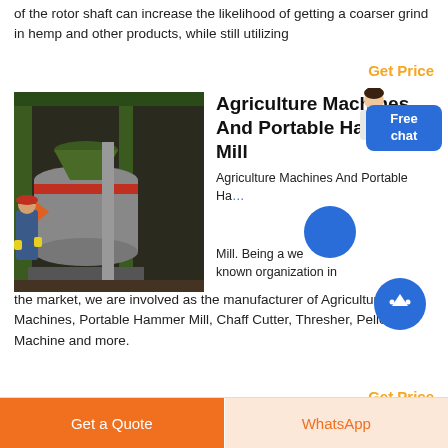of the rotor shaft can increase the likelihood of getting a coarser grind in hemp and other products, while still utilizing
Get Price
[Figure (photo): Industrial hammer mill machine in a warehouse setting, with a worker in blue overalls and red hard hat standing beside it. Large cylindrical grey metal equipment with green structural supports.]
Agriculture Machines And Portable Hammer Mill
Agriculture Machines And Portable Hammer Mill. Being a well-known organization in the market, we are involved as the manufacturer of Agriculture Machines, Portable Hammer Mill, Chaff Cutter, Thresher, Pellet Machine and more.
Get Price
Get a Quote
WhatsApp